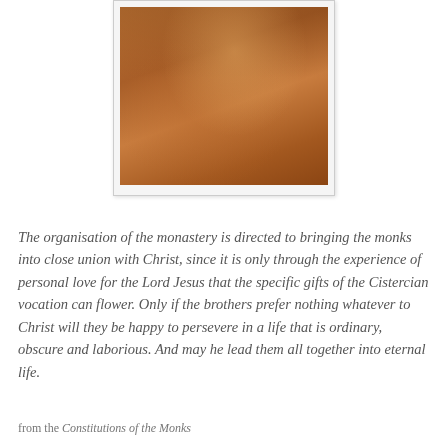[Figure (photo): A wooden or bronze crucifix sculpture showing the torso and upper body of Christ on the cross, with arms raised, detailed musculature visible, warm brown tones.]
The organisation of the monastery is directed to bringing the monks into close union with Christ, since it is only through the experience of personal love for the Lord Jesus that the specific gifts of the Cistercian vocation can flower. Only if the brothers prefer nothing whatever to Christ will they be happy to persevere in a life that is ordinary, obscure and laborious. And may he lead them all together into eternal life.
from the Constitutions of the Monks